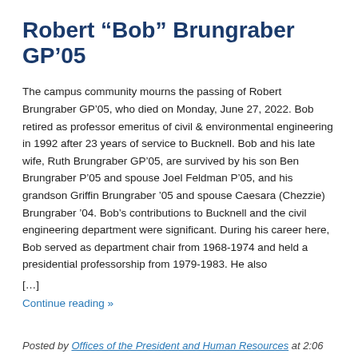Robert “Bob” Brungraber GP’05
The campus community mourns the passing of Robert Brungraber GP’05, who died on Monday, June 27, 2022. Bob retired as professor emeritus of civil & environmental engineering in 1992 after 23 years of service to Bucknell. Bob and his late wife, Ruth Brungraber GP’05, are survived by his son Ben Brungraber P’05 and spouse Joel Feldman P’05, and his grandson Griffin Brungraber ’05 and spouse Caesara (Chezzie) Brungraber ’04. Bob’s contributions to Bucknell and the civil engineering department were significant. During his career here, Bob served as department chair from 1968-1974 and held a presidential professorship from 1979-1983. He also
[...]
Continue reading »
Posted by Offices of the President and Human Resources at 2:06 pm